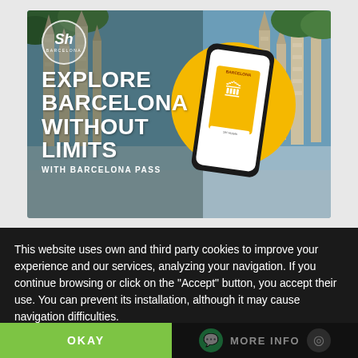[Figure (illustration): Barcelona Pass advertisement showing Sagrada Familia in background with a phone displaying a Barcelona card, yellow circle accent, Sh Barcelona hotel logo, and text 'Explore Barcelona Without Limits With Barcelona Pass']
This website uses own and third party cookies to improve your experience and our services, analyzing your navigation. If you continue browsing or click on the "Accept" button, you accept their use. You can prevent its installation, although it may cause navigation difficulties.
OKAY
MORE INFO